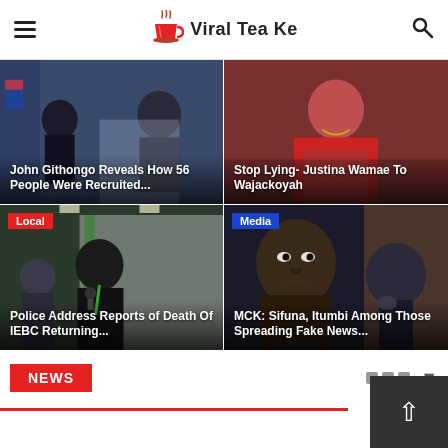Viral Tea Ke
[Figure (screenshot): News card top-left: John Githongo article with people in background]
John Githongo Reveals How 56 People Were Recruited...
[Figure (screenshot): News card top-right: Stop Lying article with woman in red]
Stop Lying- Justina Wamae To Wajackoyah
[Figure (screenshot): News card bottom-left: Local tagged - Police address reports article]
Police Address Reports of Death Of IEBC Returning...
[Figure (screenshot): News card bottom-right: Media tagged - MCK Sifuna Itumbi article]
MCK: Sifuna, Itumbi Among Those Spreading Fake News...
NEWS